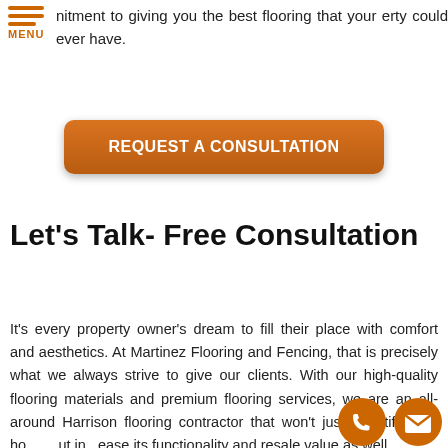nitment to giving you the best flooring that your erty could ever have.
[Figure (logo): Orange hamburger menu icon with three horizontal lines and MENU label below]
[Figure (other): Orange rounded rectangle button reading REQUEST A CONSULTATION]
Let’s Talk- Free Consultation
It’s every property owner’s dream to fill their place with comfort and aesthetics. At Martinez Flooring and Fencing, that is precisely what we always strive to give our clients. With our high-quality flooring materials and premium flooring services, we are an all-around Harrison flooring contractor that won’t just beautify your home but increase its functionality and resale value as well.
[Figure (other): Two orange circular floating action buttons: phone icon and email envelope icon]